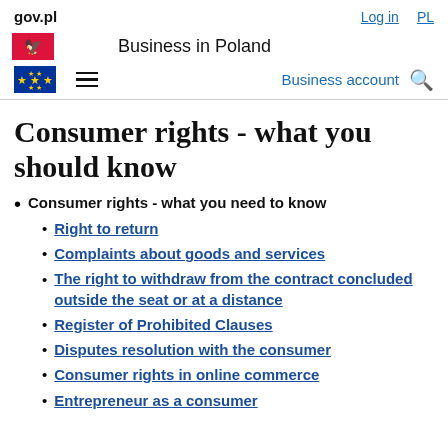gov.pl   Log in   PL
Business in Poland
Business account
Consumer rights - what you should know
Consumer rights - what you need to know
Right to return
Complaints about goods and services
The right to withdraw from the contract concluded outside the seat or at a distance
Register of Prohibited Clauses
Disputes resolution with the consumer
Consumer rights in online commerce
Entrepreneur as a consumer